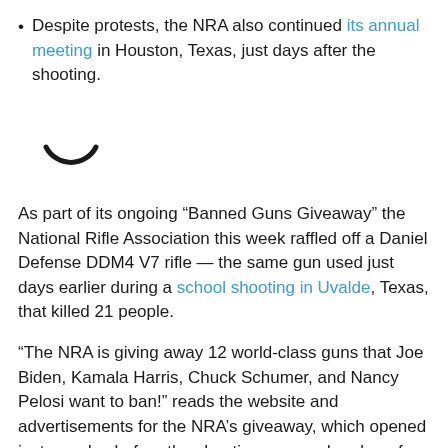Despite protests, the NRA also continued its annual meeting in Houston, Texas, just days after the shooting.
[Figure (other): Loading spinner icon — a partial arc (right half of a circle) suggesting a spinning/loading indicator]
As part of its ongoing “Banned Guns Giveaway” the National Rifle Association this week raffled off a Daniel Defense DDM4 V7 rifle — the same gun used just days earlier during a school shooting in Uvalde, Texas, that killed 21 people.
“The NRA is giving away 12 world-class guns that Joe Biden, Kamala Harris, Chuck Schumer, and Nancy Pelosi want to ban!” reads the website and advertisements for the NRA’s giveaway, which opened just one day before the shooting occurred and ran for four days after.